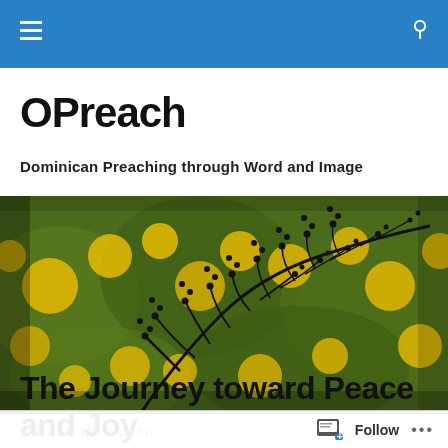OPreach navigation bar
OPreach
Dominican Preaching through Word and Image
[Figure (photo): Silhouette of a plant branch with small buds in front of a blurred background of yellow wildflowers and green foliage.]
TAGGED WITH UTAH
The Journey toward Peace and Joy
Follow